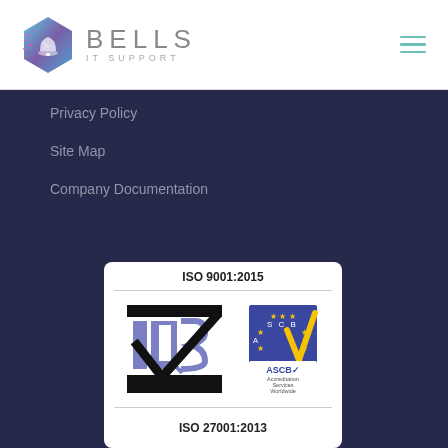[Figure (logo): Bells IT Support logo — hexagonal colorful icon with bell, plus BELLS IT SUPPORT text]
Privacy Policy
Site Map
Company Documentation
[Figure (other): ISO 9001:2015 certification card with IQS and ASCB logos, QUALITY STANDARD label]
[Figure (other): ISO 27001:2013 certification card (partially visible)]